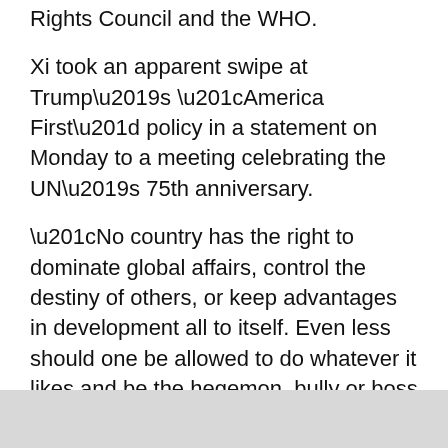Rights Council and the WHO.
Xi took an apparent swipe at Trump’s “America First” policy in a statement on Monday to a meeting celebrating the UN’s 75th anniversary.
“No country has the right to dominate global affairs, control the destiny of others, or keep advantages in development all to itself. Even less should one be allowed to do whatever it likes and be the hegemon, bully or boss of the world. Unilateralism is a dead end,” he said.
The US coronavirus death toll surpassed 200,000 on Monday, by far the highest official number of any country.